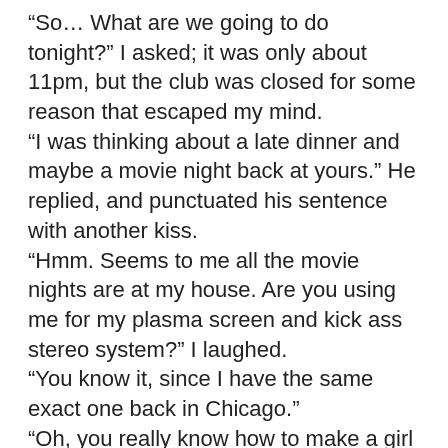"So… What are we going to do tonight?" I asked; it was only about 11pm, but the club was closed for some reason that escaped my mind. "I was thinking about a late dinner and maybe a movie night back at yours." He replied, and punctuated his sentence with another kiss. "Hmm. Seems to me all the movie nights are at my house. Are you using me for my plasma screen and kick ass stereo system?" I laughed. "You know it, since I have the same exact one back in Chicago." "Oh, you really know how to make a girl feel special." "That's what I do. Now, why don't we head out to some Italian food?" he asked. "Alright, Italian it is." I smirked, and kissed him again. This could be the last time. He's engaged… but this was ours long before, I mentally rationed in my head.

"I'll take the fettuccine with creamy pesto sauce. Oh and